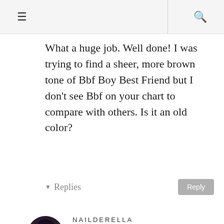☰  Q
What a huge job. Well done! I was trying to find a sheer, more brown tone of Bbf Boy Best Friend but I don't see Bbf on your chart to compare with others. Is it an old color?
▼ Replies
NAILDERELLA
January 27, 2018 at 2:44 PM
Hi Kathy, thank you! mmm I haven't heard about Bbf…maybe it's indeed an old color, sorry